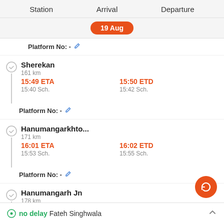Station   Arrival   Departure
19 Aug
Platform No: -
Sherekan
161 km
15:49 ETA  15:40 Sch.  15:50 ETD  15:42 Sch.
Platform No: -
Hanumangarkhto...
171 km
16:01 ETA  15:53 Sch.  16:02 ETD  15:55 Sch.
Platform No: -
Hanumangarh Jn
178 km
16:13 ETA  16:15 Sch.  17:01 ETD  16:55 Sch.
no delay Fateh Singhwala